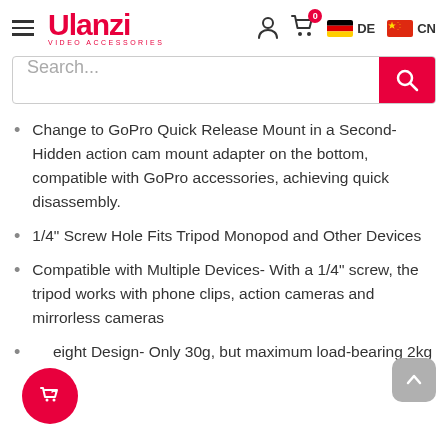Ulanzi VIDEO ACCESSORIES — DE CN
Search...
Change to GoPro Quick Release Mount in a Second- Hidden action cam mount adapter on the bottom, compatible with GoPro accessories, achieving quick disassembly.
1/4" Screw Hole Fits Tripod Monopod and Other Devices
Compatible with Multiple Devices- With a 1/4" screw, the tripod works with phone clips, action cameras and mirrorless cameras
Lightweight Design- Only 30g, but maximum load-bearing 2kg